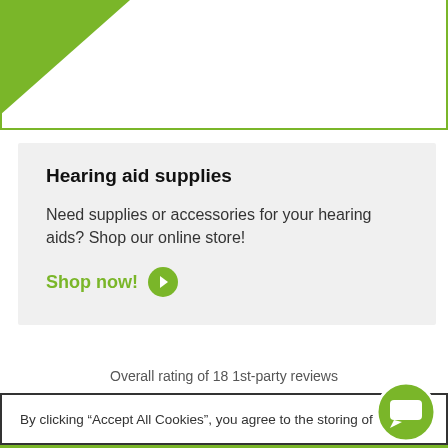[Figure (illustration): White box with green border and green diagonal triangle in top-left corner]
Hearing aid supplies
Need supplies or accessories for your hearing aids? Shop our online store!
Shop now!
Overall rating of 18 1st-party reviews
By clicking “Accept All Cookies”, you agree to the storing of
HEALTH & SAFETY IN OUR CLINICS: The health and wellbeing of our staff and clients in our clinics is our top priority. Learn more about what we’re doing here